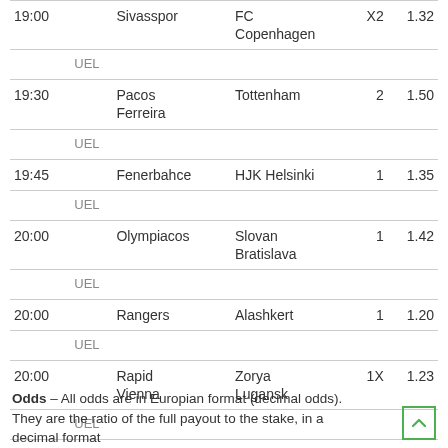| Time | Comp | Home | Away | Bet | Odds |
| --- | --- | --- | --- | --- | --- |
| 19:00 | UEL | Sivasspor | FC Copenhagen | X2 | 1.32 |
| 19:30 | UEL | Pacos Ferreira | Tottenham | 2 | 1.50 |
| 19:45 | UEL | Fenerbahce | HJK Helsinki | 1 | 1.35 |
| 20:00 | UEL | Olympiacos | Slovan Bratislava | 1 | 1.42 |
| 20:00 | UEL | Rangers | Alashkert | 1 | 1.20 |
| 20:00 | UEL | Rapid Vienna | Zorya Lugansk | 1X | 1.23 |
Odds – All odds are in Europian format (decimal odds). They are the ratio of the full payout to the stake, in a decimal format